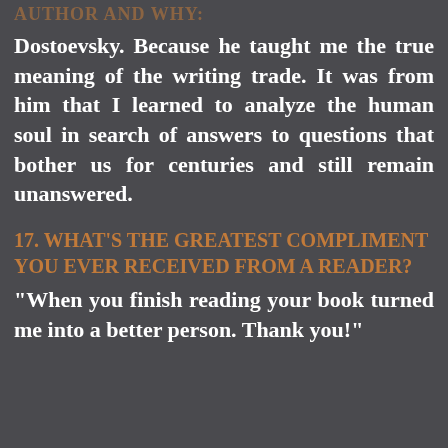AUTHOR AND WHY:
Dostoevsky. Because he taught me the true meaning of the writing trade. It was from him that I learned to analyze the human soul in search of answers to questions that bother us for centuries and still remain unanswered.
17. WHAT'S THE GREATEST COMPLIMENT YOU EVER RECEIVED FROM A READER?
"When you finish reading your book turned me into a better person. Thank you!"